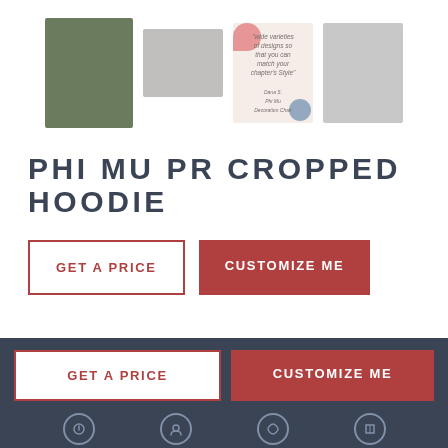[Figure (photo): Row of four product/lifestyle thumbnail images: person in hoodie outdoors, close-up of grey hoodie fabric, decorative quote card with pink and blue blobs, two people wearing hoodies]
PHI MU PR CROPPED HOODIE
GET A PRICE
CUSTOMIZE ME
GET A PRICE
CUSTOMIZE ME